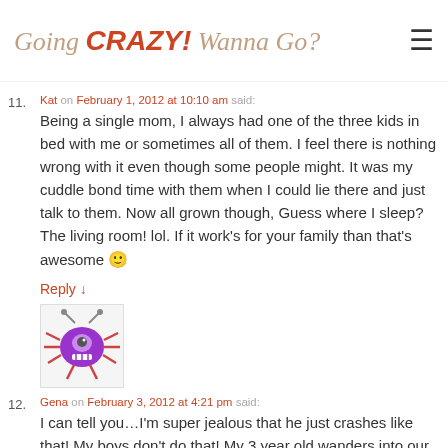Going CRAZY! Wanna Go?
Kat on February 1, 2012 at 10:10 am said: Being a single mom, I always had one of the three kids in bed with me or sometimes all of them. I feel there is nothing wrong with it even though some people might. It was my cuddle bond time with them when I could lie there and just talk to them. Now all grown though, Guess where I sleep? The living room! lol. If it work's for your family than that's awesome 🙂
Reply ↓
[Figure (illustration): Purple cartoon spider/bug avatar with antennae and teeth]
12. Gena on February 3, 2012 at 4:21 pm said: I can tell you…I'm super jealous that he just crashes like that! My boys don't do that! My 3 year old wanders into our bed sometime during the early